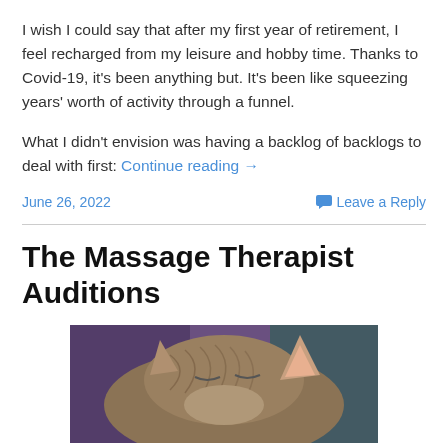I wish I could say that after my first year of retirement, I feel recharged from my leisure and hobby time. Thanks to Covid-19, it's been anything but. It's been like squeezing years' worth of activity through a funnel.
What I didn't envision was having a backlog of backlogs to deal with first: Continue reading →
June 26, 2022
Leave a Reply
The Massage Therapist Auditions
[Figure (photo): Close-up photo of a cat's head resting, showing tabby fur and ear, with a blurred purple/blue background.]